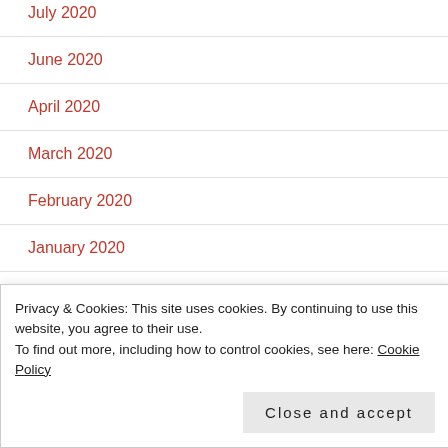July 2020
June 2020
April 2020
March 2020
February 2020
January 2020
December 2019
November 2019
Privacy & Cookies: This site uses cookies. By continuing to use this website, you agree to their use.
To find out more, including how to control cookies, see here: Cookie Policy
Close and accept